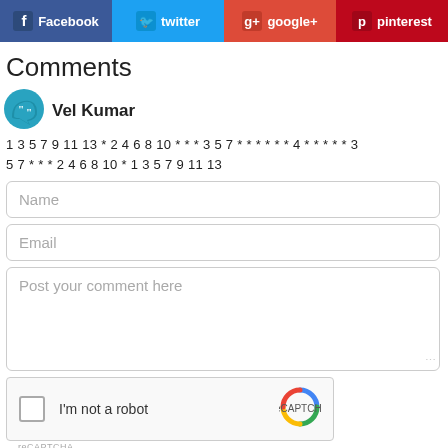[Figure (infographic): Social sharing buttons: Facebook (dark blue), twitter (light blue), google+ (red-orange), pinterest (dark red)]
Comments
[Figure (illustration): Comment icon avatar (speech bubble with quotation marks, teal/blue)]
Vel Kumar
1 3 5 7 9 11 13 * 2 4 6 8 10 * * * 3 5 7 * * * * * * 4 * * * * * 3 5 7 * * * 2 4 6 8 10 * 1 3 5 7 9 11 13
Name
Email
Post your comment here
[Figure (other): reCAPTCHA widget with checkbox 'I'm not a robot' and reCAPTCHA logo]